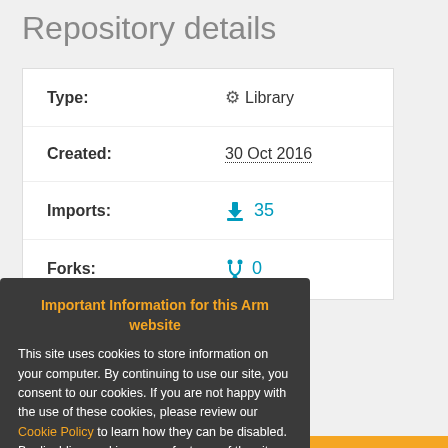Repository details
| Field | Value |
| --- | --- |
| Type: | ⚙ Library |
| Created: | 30 Oct 2016 |
| Imports: | ↓ 35 |
| Forks: | ⑂ 0 |
Important Information for this Arm website
This site uses cookies to store information on your computer. By continuing to use our site, you consent to our cookies. If you are not happy with the use of these cookies, please review our Cookie Policy to learn how they can be disabled. By disabling cookies, some features of the site will not work.
Accept and hide this message